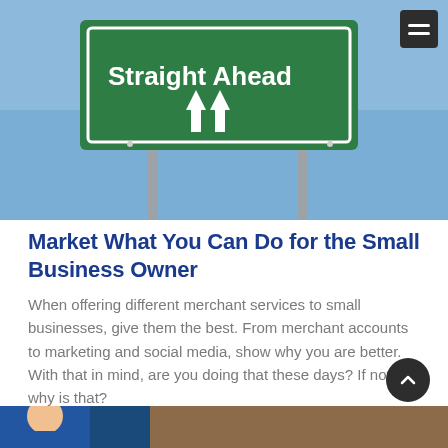[Figure (photo): Highway road sign reading 'Straight Ahead' with two upward arrows, against a blue sky background. A dark hamburger menu button is visible in the top-right corner.]
Market What You Can Do for the Small Business Owner
When offering different merchant services to small businesses, give them the best. From merchant accounts to marketing and social media, show why you are better. With that in mind, are you doing that these days? If not, why is that?
Read More
[Figure (photo): Partial bottom image showing a person, cropped at the bottom of the page.]